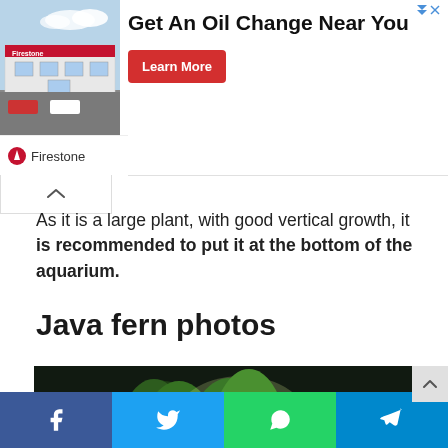[Figure (screenshot): Advertisement banner for Firestone oil change service. Shows a Firestone store building image on the left, text 'Get An Oil Change Near You' in the center, a red 'Learn More' button, and Firestone logo/name at the bottom left.]
As it is a large plant, with good vertical growth, it is recommended to put it at the bottom of the aquarium.
Java fern photos
[Figure (photo): Aquarium photograph showing a lush aquascape with dense green plants, primarily Java fern and other aquatic plants, arranged in a naturalistic layout against a dark background.]
[Figure (screenshot): Social media share bar at the bottom with four buttons: Facebook (blue), Twitter (light blue), WhatsApp (green), and Telegram (blue).]